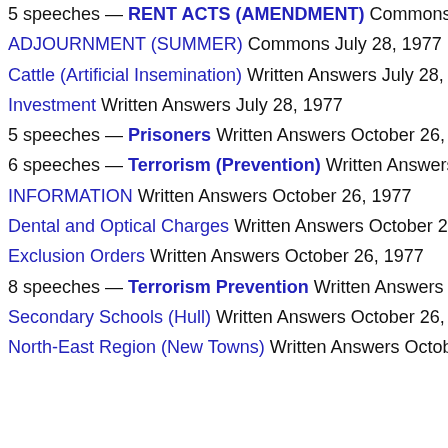5 speeches — RENT ACTS (AMENDMENT) Commons July 2
ADJOURNMENT (SUMMER) Commons July 28, 1977
Cattle (Artificial Insemination) Written Answers July 28, 1977
Investment Written Answers July 28, 1977
5 speeches — Prisoners Written Answers October 26, 1977
6 speeches — Terrorism (Prevention) Written Answers Octo
INFORMATION Written Answers October 26, 1977
Dental and Optical Charges Written Answers October 26, 1977
Exclusion Orders Written Answers October 26, 1977
8 speeches — Terrorism Prevention Written Answers Octobe
Secondary Schools (Hull) Written Answers October 26, 1977
North-East Region (New Towns) Written Answers October 26,